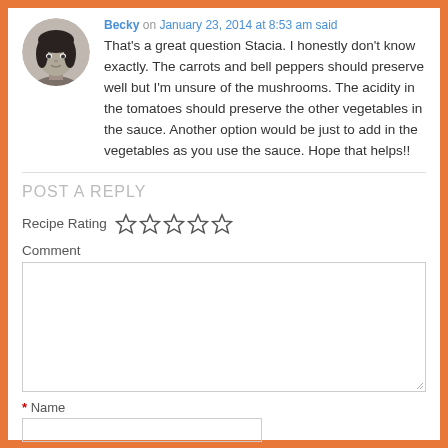Becky on January 23, 2014 at 8:53 am said:
That's a great question Stacia. I honestly don't know exactly. The carrots and bell peppers should preserve well but I'm unsure of the mushrooms. The acidity in the tomatoes should preserve the other vegetables in the sauce. Another option would be just to add in the vegetables as you use the sauce. Hope that helps!!
POST A REPLY
Recipe Rating ☆☆☆☆☆
Comment
* Name